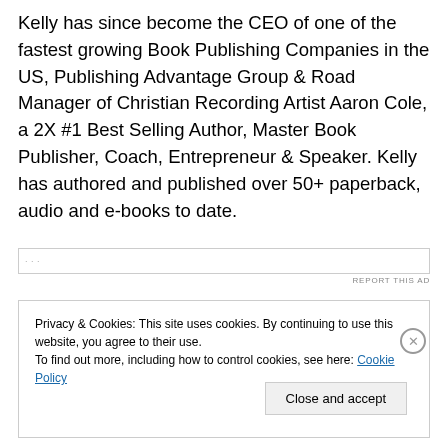Kelly has since become the CEO of one of the fastest growing Book Publishing Companies in the US, Publishing Advantage Group & Road Manager of Christian Recording Artist Aaron Cole, a 2X #1 Best Selling Author, Master Book Publisher, Coach, Entrepreneur & Speaker. Kelly has authored and published over 50+ paperback, audio and e-books to date.
Privacy & Cookies: This site uses cookies. By continuing to use this website, you agree to their use.
To find out more, including how to control cookies, see here: Cookie Policy
Close and accept